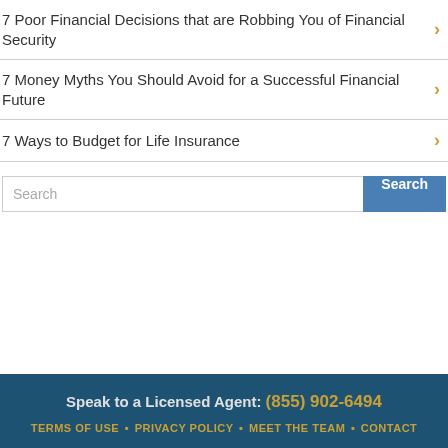7 Poor Financial Decisions that are Robbing You of Financial Security
7 Money Myths You Should Avoid for a Successful Financial Future
7 Ways to Budget for Life Insurance
Search
Speak to a Licensed Agent: (855) 902-6494 • TERMS OF USE • PRIVACY POLICY • MEET THE TEAM • CONTACT